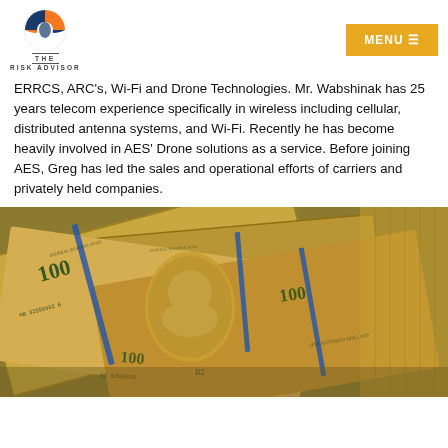THE RISK ADVISOR | MENU
ERRCS, ARC's, Wi-Fi and Drone Technologies. Mr. Wabshinak has 25 years telecom experience specifically in wireless including cellular, distributed antenna systems, and Wi-Fi. Recently he has become heavily involved in AES' Drone solutions as a service. Before joining AES, Greg has led the sales and operational efforts of carriers and privately held companies.
[Figure (photo): Pile of US $100 dollar bills spread out, showing Benjamin Franklin's portrait and serial numbers including MB 32559992 6 and MB 32559916, with blue security strips visible]